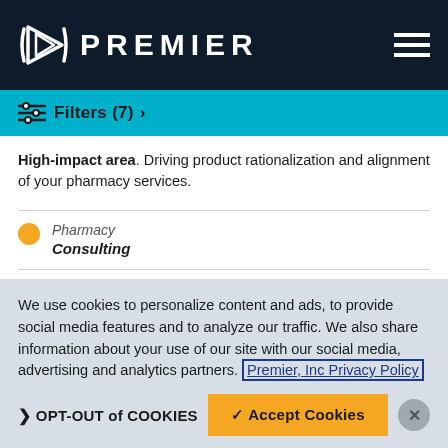[Figure (logo): Premier Inc logo with white triangular/play-button icon and PREMIER text in white on dark navy background, with hamburger menu icon on right]
Filters (7) >
High-impact area. Driving product rationalization and alignment of your pharmacy services.
Pharmacy Consulting
Non-Acute Pharmacy Consulting
Integrated strategy. Pharmacy assets can drive clinical and
We use cookies to personalize content and ads, to provide social media features and to analyze our traffic. We also share information about your use of our site with our social media, advertising and analytics partners. Premier, Inc Privacy Policy
OPT-OUT of COOKIES | Accept Cookies